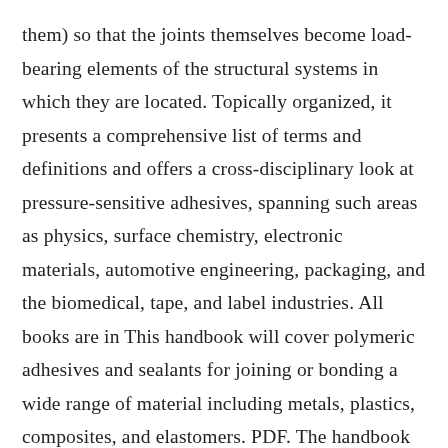them) so that the joints themselves become load-bearing elements of the structural systems in which they are located. Topically organized, it presents a comprehensive list of terms and definitions and offers a cross-disciplinary look at pressure-sensitive adhesives, spanning such areas as physics, surface chemistry, electronic materials, automotive engineering, packaging, and the biomedical, tape, and label industries. All books are in This handbook will cover polymeric adhesives and sealants for joining or bonding a wide range of material including metals, plastics, composites, and elastomers. PDF. The handbook will be published as 8 volumes, over a period of 4 years and will contain over 2800 pages, rich with case studies, industrial applications and the latest research. For the academic, the Handbook will connect the important theories regarding